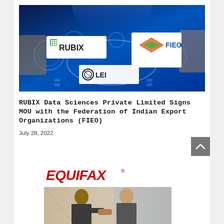[Figure (photo): Banner image showing digital technology background with gears and circuit patterns, featuring logos: RUBIX (green grid icon with text), FIEO (colorful diamond logo), and LEI (Legal Entity Identifier logo). Blue-toned digital background with hands touching screens.]
RUBIX Data Sciences Private Limited Signs MOU with the Federation of Indian Export Organizations (FIEO)
July 28, 2022
[Figure (photo): Equifax logo in bold red italic letters with registered trademark symbol, above a photo of two people shaking hands in a modern building interior.]